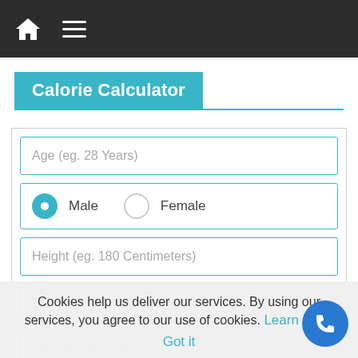Home / Menu navigation bar
Calorie Calculator
Age (eg. 28 Years)
Male  Female
Height (eg. 180 Centimeters)
Weight (eg. 68 Kilograms)
Your Activity Level
Cookies help us deliver our services. By using our services, you agree to our use of cookies.  Learn more   Got it